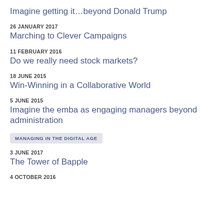Imagine getting it…beyond Donald Trump
26 JANUARY 2017
Marching to Clever Campaigns
11 FEBRUARY 2016
Do we really need stock markets?
18 JUNE 2015
Win-Winning in a Collaborative World
5 JUNE 2015
Imagine the emba as engaging managers beyond administration
MANAGING IN THE DIGITAL AGE
3 JUNE 2017
The Tower of Bapple
4 OCTOBER 2016